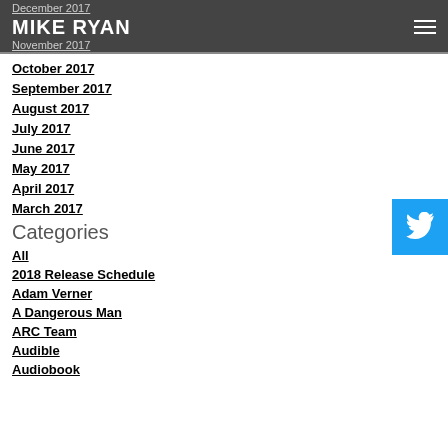December 2017 | MIKE RYAN | November 2017
October 2017
September 2017
August 2017
July 2017
June 2017
May 2017
April 2017
March 2017
Categories
All
2018 Release Schedule
Adam Verner
A Dangerous Man
ARC Team
Audible
Audiobook
[Figure (logo): Twitter bird icon button in blue]